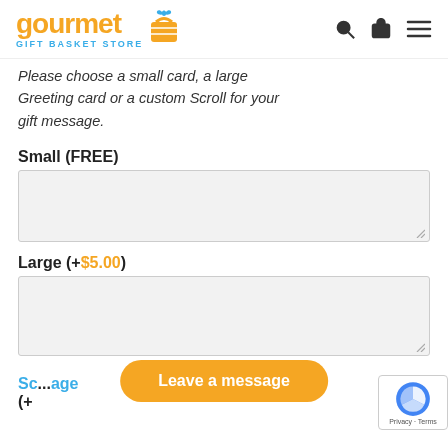gourmet GIFT BASKET STORE
Please choose a small card, a large Greeting card or a custom Scroll for your gift message.
Small (FREE)
Large (+$5.00)
Scroll ... age (+...